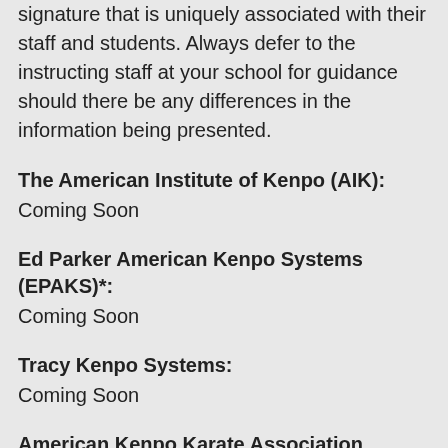signature that is uniquely associated with their staff and students. Always defer to the instructing staff at your school for guidance should there be any differences in the information being presented.
The American Institute of Kenpo (AIK):
Coming Soon
Ed Parker American Kenpo Systems (EPAKS)*:
Coming Soon
Tracy Kenpo Systems:
Coming Soon
American Kenpo Karate Association (AKKA Karate USA):
Coming Soon